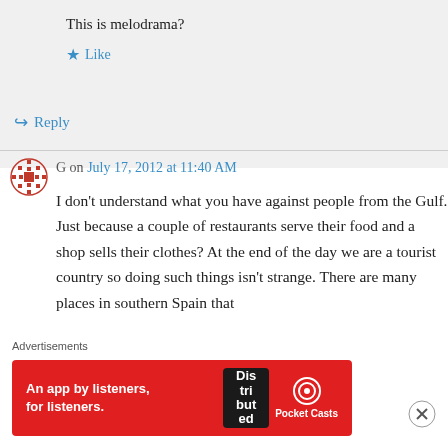This is melodrama?
Like
Reply
G on July 17, 2012 at 11:40 AM
I don’t understand what you have against people from the Gulf. Just because a couple of restaurants serve their food and a shop sells their clothes? At the end of the day we are a tourist country so doing such things isn’t strange. There are many places in southern Spain that
Advertisements
[Figure (other): Pocket Casts advertisement banner: red background with text 'An app by listeners, for listeners.' and Pocket Casts logo with a phone showing 'Distributed' on screen.]